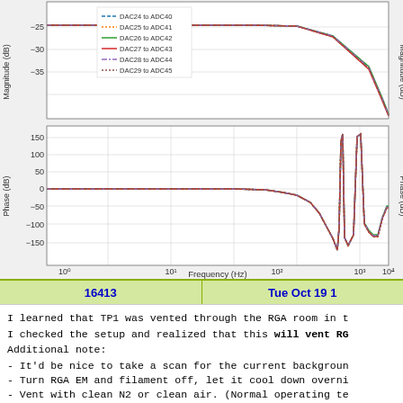[Figure (continuous-plot): Two-panel Bode plot (cropped). Top panel shows Magnitude (dB) vs Frequency with legend entries DAC24-ADC40 through DAC29-ADC45. Bottom panel shows Phase (dB) vs Frequency (Hz) on log scale from 10^0 to ~10^4 Hz. Multiple overlapping lines showing phase response from 0 degrees dropping to -150 and spiking near 2000 Hz.]
| 16413 | Tue Oct 19 1 |
| --- | --- |
I learned that TP1 was vented through the RGA room in t
I checked the setup and realized that this will vent RG
Additional note:
- It'd be nice to take a scan for the current backgroun
- Turn RGA EM and filament off, let it cool down overni
- Vent with clean N2 or clean air. (Normal operating te
- Then clean more fittings and tighten to prevent leak